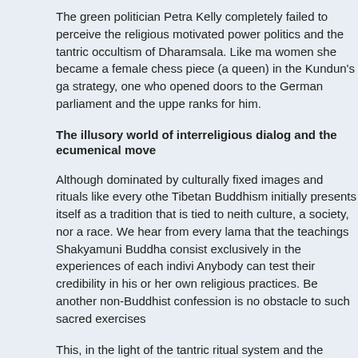The green politician Petra Kelly completely failed to perceive the religious motivated power politics and the tantric occultism of Dharamsala. Like many women she became a female chess piece (a queen) in the Kundun's game strategy, one who opened doors to the German parliament and the upper ranks for him.
The illusory world of interreligious dialog and the ecumenical move
Although dominated by culturally fixed images and rituals like every other Tibetan Buddhism initially presents itself as a tradition that is tied to neither culture, a society, nor a race. We hear from every lama that the teachings of Shakyamuni Buddha consist exclusively in the experiences of each individual. Anybody can test their credibility in his or her own religious practices. Belonging to another non-Buddhist confession is no obstacle to such sacred exercises.
This, in the light of the tantric ritual system and the “baroque” Tibetan pantheon, feigned, purist and liberal basic attitude allows His Holiness the Fourteenth Dalai Lama to present himself as being so tolerant and open minded that he has been celebrated for years as the "most open minded and liberal ecclesiastical dignitary on the planet. His readiness to engage in dialog has all but become a catchword.
In now presenting the Kundun’s interreligious activities, we always have to bear in mind an awareness that at heart the entire Lamaist system is and wants to remain incompatible with other faiths. Let us review the reasons for this once more.